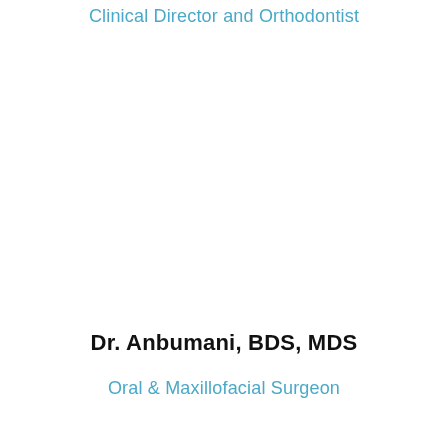Clinical Director and Orthodontist
Dr. Anbumani, BDS, MDS
Oral & Maxillofacial Surgeon